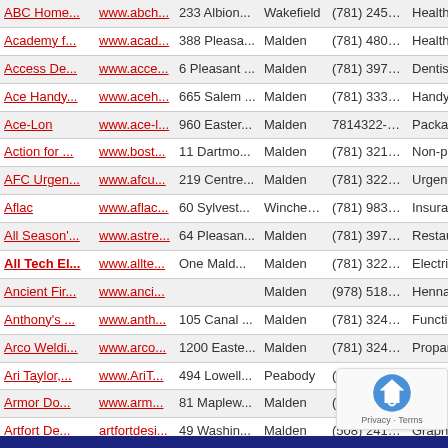| Name | Website | Address | City | Phone | Category |
| --- | --- | --- | --- | --- | --- |
| ABC Home... | www.abch... | 233 Albion... | Wakefield | (781) 245-1... | Healthcare... |
| Academy f... | www.acad... | 388 Pleasa... | Malden | (781) 480-1... | Health Car... |
| Access De... | www.acce... | 6 Pleasant ... | Malden | (781) 397-8... | Dentists; ; |
| Ace Handy... | www.aceh... | 665 Salem ... | Malden | (781) 333-4... | Handyma... |
| Ace-Lon | www.ace-l... | 960 Easter... | Malden | 7814322-7... | Packaging ... |
| Action for ... | www.bost... | 11 Dartmo... | Malden | (781) 321-3... | Non-profit... |
| AFC Urgen... | www.afcu... | 219 Centre... | Malden | (781) 322-7... | Urgent Ca... |
| Aflac | www.aflac... | 60 Sylvest... | Winchester | (781) 983-0... | Insurance;... |
| All Season'... | www.astre... | 64 Pleasan... | Malden | (781) 397-8... | Restauran... |
| All Tech El... | www.allte... | One Mald... | Malden | (781) 322-6... | Electrical C... |
| Ancient Fir... | www.anci... |  | Malden | (978) 518-7... | Henna Bo... |
| Anthony's ... | www.anth... | 105 Canal ... | Malden | (781) 324-8... | Function F... |
| Arco Weldi... | www.arco... | 1200 Easte... | Malden | (781) 324-6... | Propane; ... |
| Ari Taylor,... | www.AriT... | 494 Lowell... | Peabody | (339) 224-1... | Real Estate... |
| Armor Do... | www.arm... | 81 Maplew... | Malden | (781) 324-0... | Commerci... |
| Artfort De... | artfortdesi... | 49 Washin... | Malden | (508) 241-0... | Graphic D... |
| Atria Mapl... | www.atria... | 295 Broad... | Malden | (781) 324-4... | Assisted l... |
| AVIVA Reik... | www.aviv... | 10 Spruce ... | Malden | (617) 460-2... | R |